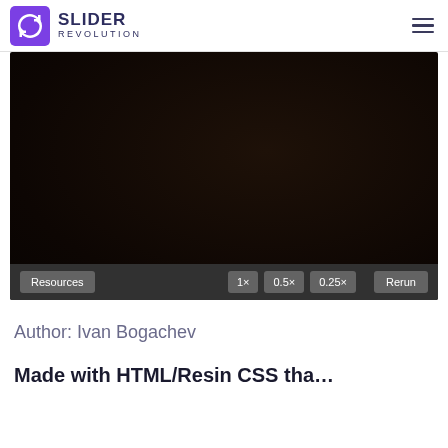SLIDER REVOLUTION
[Figure (screenshot): Dark preview area showing a Slider Revolution animation preview with a toolbar at the bottom containing: Resources button, 1x, 0.5x, 0.25x speed buttons, and Rerun button]
Author: Ivan Bogachev
Made with HTML/Resin CSS tha...